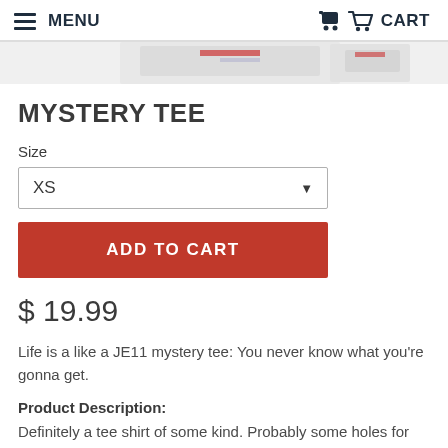MENU   CART
[Figure (photo): Partial product image strip showing folded tee shirts with American flag design at top of page]
MYSTERY TEE
Size
XS
ADD TO CART
$ 19.99
Life is a like a JE11 mystery tee: You never know what you're gonna get.
Product Description:
Definitely a tee shirt of some kind. Probably some holes for your neck and arms, and a